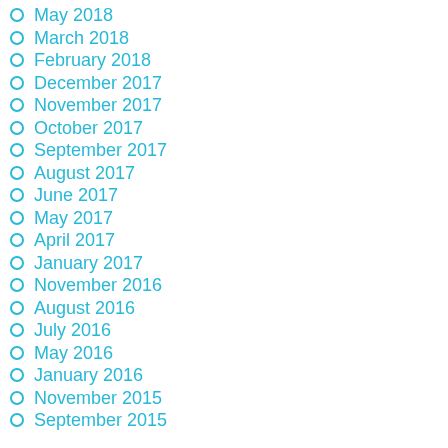May 2018
March 2018
February 2018
December 2017
November 2017
October 2017
September 2017
August 2017
June 2017
May 2017
April 2017
January 2017
November 2016
August 2016
July 2016
May 2016
January 2016
November 2015
September 2015